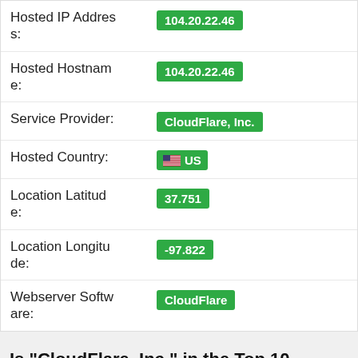| Field | Value |
| --- | --- |
| Hosted IP Address: | 104.20.22.46 |
| Hosted Hostname: | 104.20.22.46 |
| Service Provider: | CloudFlare, Inc. |
| Hosted Country: | US |
| Location Latitude: | 37.751 |
| Location Longitude: | -97.822 |
| Webserver Software: | CloudFlare |
Is "CloudFlare, Inc." in the Top 10 Hosting Companies?